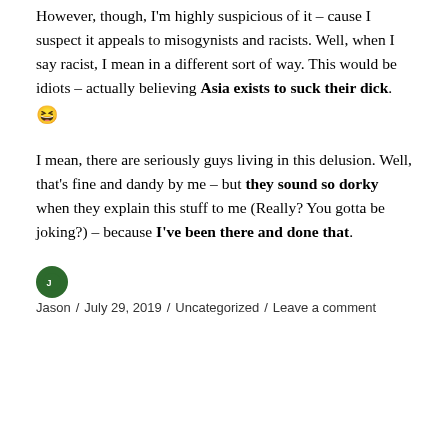However, though, I'm highly suspicious of it – cause I suspect it appeals to misogynists and racists. Well, when I say racist, I mean in a different sort of way. This would be idiots – actually believing Asia exists to suck their dick. 😆
I mean, there are seriously guys living in this delusion. Well, that's fine and dandy by me – but they sound so dorky when they explain this stuff to me (Really? You gotta be joking?) – because I've been there and done that.
Jason / July 29, 2019 / Uncategorized / Leave a comment